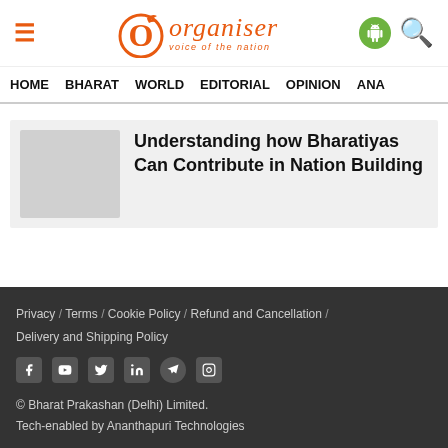Organiser – Voice of the Nation
HOME  BHARAT  WORLD  EDITORIAL  OPINION  ANA
Understanding how Bharatiyas Can Contribute in Nation Building
Privacy / Terms / Cookie Policy / Refund and Cancellation / Delivery and Shipping Policy
© Bharat Prakashan (Delhi) Limited.
Tech-enabled by Ananthapuri Technologies